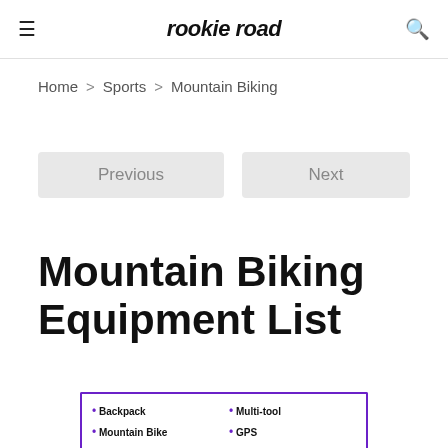rookie road
Home > Sports > Mountain Biking
Previous | Next
Mountain Biking Equipment List
[Figure (other): Preview of a list box with bullet points: Backpack, Mountain Bike, Multi-tool, GPS]